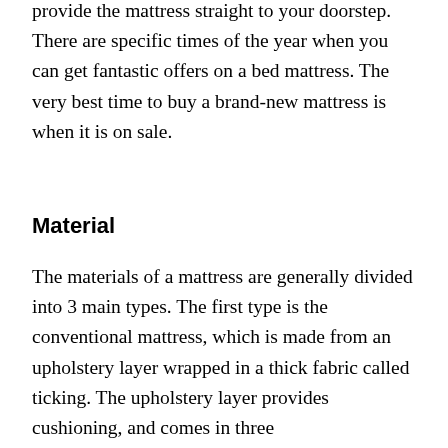provide the mattress straight to your doorstep. There are specific times of the year when you can get fantastic offers on a bed mattress. The very best time to buy a brand-new mattress is when it is on sale.
Material
The materials of a mattress are generally divided into 3 main types. The first type is the conventional mattress, which is made from an upholstery layer wrapped in a thick fabric called ticking. The upholstery layer provides cushioning, and comes in three